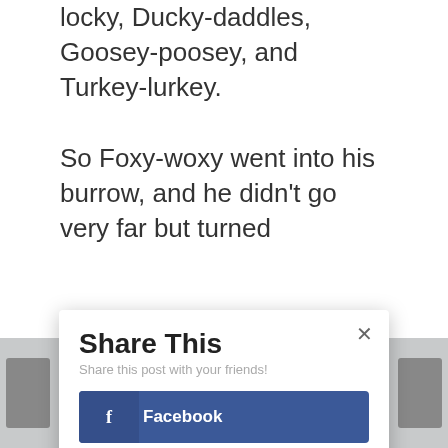locky, Ducky-daddles, Goosey-poosey, and Turkey-lurkey.
So Foxy-woxy went into his burrow, and he didn't go very far but turned
Share This
Share this post with your friends!
Facebook
Twitter
Google+
Pinterest